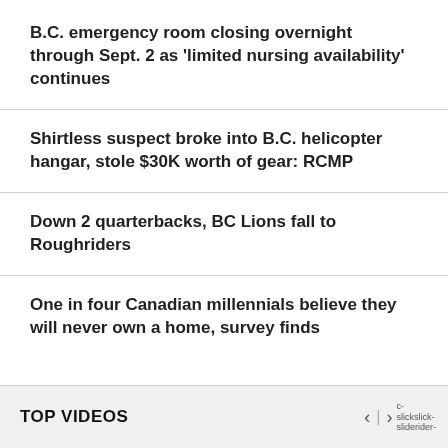B.C. emergency room closing overnight through Sept. 2 as 'limited nursing availability' continues
Shirtless suspect broke into B.C. helicopter hangar, stole $30K worth of gear: RCMP
Down 2 quarterbacks, BC Lions fall to Roughriders
One in four Canadian millennials believe they will never own a home, survey finds
TOP VIDEOS